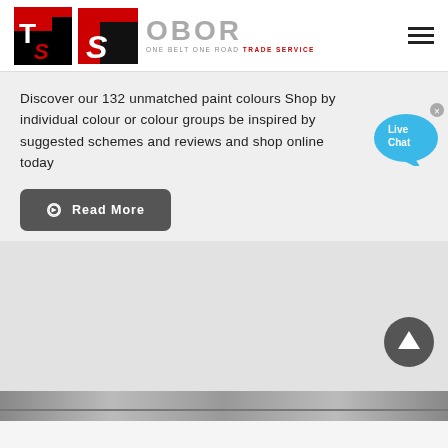[Figure (logo): OBOR Trade Service logo with red and black TS emblem and grey OBOR text, tagline ONE BELT ONE ROAD TRADE SERVICE]
Discover our 132 unmatched paint colours Shop by individual colour or colour groups be inspired by suggested schemes and reviews and shop online today
Read More
[Figure (illustration): Live Chat speech bubble widget with blue colour and white text]
[Figure (illustration): Scroll to top circular dark button with upward arrow]
[Figure (photo): Bottom strip showing partial image of a car]